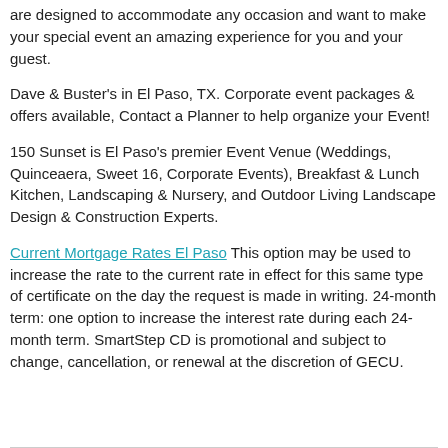are designed to accommodate any occasion and want to make your special event an amazing experience for you and your guest.
Dave & Buster's in El Paso, TX. Corporate event packages & offers available, Contact a Planner to help organize your Event!
150 Sunset is El Paso's premier Event Venue (Weddings, Quinceaera, Sweet 16, Corporate Events), Breakfast & Lunch Kitchen, Landscaping & Nursery, and Outdoor Living Landscape Design & Construction Experts.
Current Mortgage Rates El Paso This option may be used to increase the rate to the current rate in effect for this same type of certificate on the day the request is made in writing. 24-month term: one option to increase the interest rate during each 24-month term. SmartStep CD is promotional and subject to change, cancellation, or renewal at the discretion of GECU.